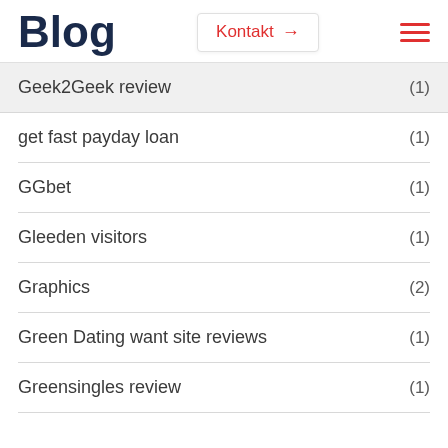Blog | Kontakt
Geek2Geek review (1)
get fast payday loan (1)
GGbet (1)
Gleeden visitors (1)
Graphics (2)
Green Dating want site reviews (1)
Greensingles review (1)